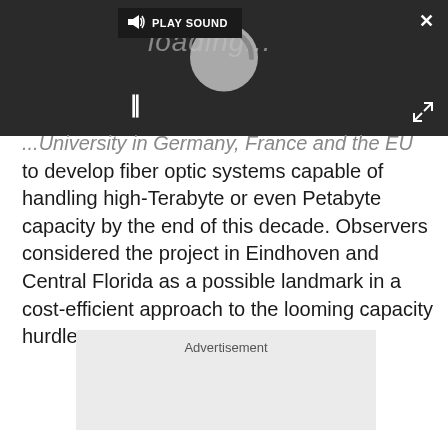[Figure (screenshot): Video player overlay with dark background showing a loading spinner, play sound button, pause button (||), close (x) button, and expand button.]
...University in Germany, France and the EU to develop fiber optic systems capable of handling high-Terabyte or even Petabyte capacity by the end of this decade. Observers considered the project in Eindhoven and Central Florida as a possible landmark in a cost-efficient approach to the looming capacity hurdle.
[Figure (other): Advertisement placeholder box with light gray background and 'Advertisement' label.]